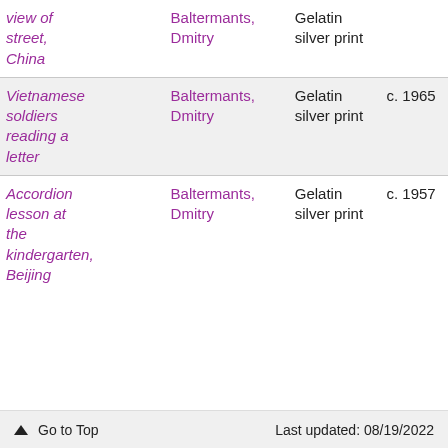| Title | Artist | Medium | Date |
| --- | --- | --- | --- |
| view of street, China | Baltermants, Dmitry | Gelatin silver print |  |
| Vietnamese soldiers reading a letter | Baltermants, Dmitry | Gelatin silver print | c. 1965 |
| Accordion lesson at the kindergarten, Beijing | Baltermants, Dmitry | Gelatin silver print | c. 1957 |
⬆ Go to Top    Last updated: 08/19/2022